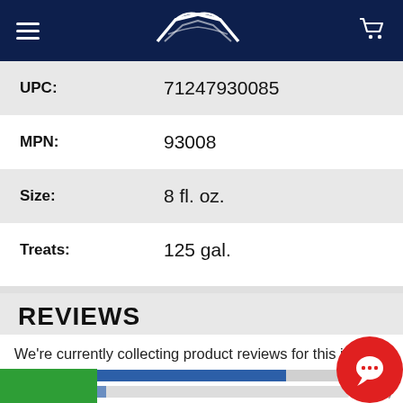[Figure (screenshot): Navigation bar with hamburger menu, boat/ferry logo, and shopping cart icon on dark navy background]
| Field | Value |
| --- | --- |
| UPC: | 71247930085 |
| MPN: | 93008 |
| Size: | 8 fl. oz. |
| Treats: | 125 gal. |
REVIEWS
We're currently collecting product reviews for this item. In the meantime, here are some reviews from our past customers sharing their overall shopping experience.
[Figure (bar-chart): Horizontal bar chart showing star rating distribution; 5 Star bar shown in blue with (11.1K), 4 Star partially visible]